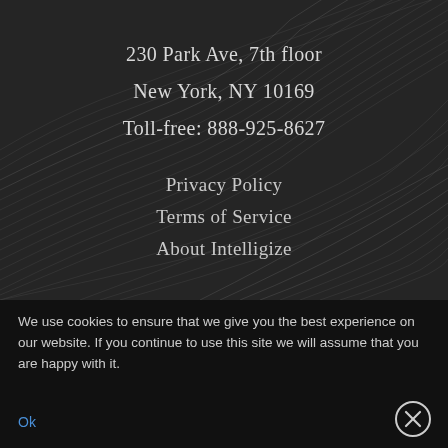[Figure (illustration): Dark background with flowing white wave/mesh lines creating a decorative pattern]
230 Park Ave, 7th floor
New York, NY 10169
Toll-free: 888-925-8627
Privacy Policy
Terms of Service
About Intelligize
We use cookies to ensure that we give you the best experience on our website. If you continue to use this site we will assume that you are happy with it.
Ok